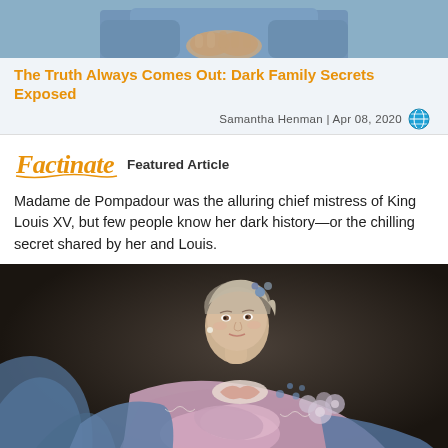[Figure (photo): Top portion of a photo showing a person in blue clothing with hands clasped]
The Truth Always Comes Out: Dark Family Secrets Exposed
Samantha Henman | Apr 08, 2020
[Figure (logo): Factinate logo in orange italic script font]
Featured Article
Madame de Pompadour was the alluring chief mistress of King Louis XV, but few people know her dark history—or the chilling secret shared by her and Louis.
[Figure (photo): Classical oil painting portrait of Madame de Pompadour in a blue and pink dress with flowers, reclining against a dark background]